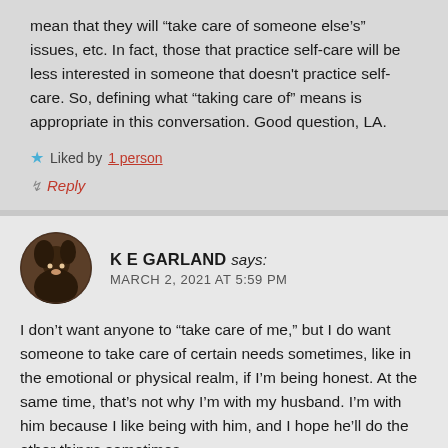mean that they will “take care of someone else’s” issues, etc. In fact, those that practice self-care will be less interested in someone that doesn't practice self-care. So, defining what “taking care of” means is appropriate in this conversation. Good question, LA.
★ Liked by 1 person
↷ Reply
K E GARLAND says: MARCH 2, 2021 AT 5:59 PM
I don’t want anyone to “take care of me,” but I do want someone to take care of certain needs sometimes, like in the emotional or physical realm, if I’m being honest. At the same time, that’s not why I’m with my husband. I’m with him because I like being with him, and I hope he’ll do the other things sometimes.